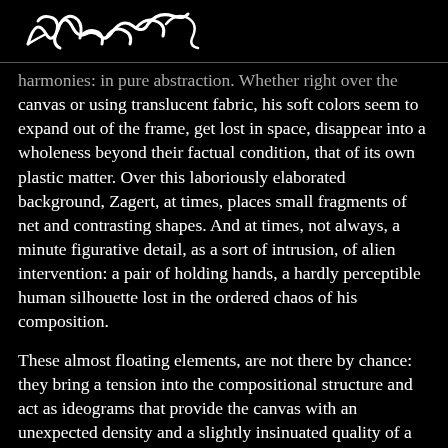[Zagert signature/logo]
harmonies: in pure abstraction. Whether right over the canvas or using translucent fabric, his soft colors seem to expand out of the frame, get lost in space, disappear into a wholeness beyond their factual condition, that of its own plastic matter. Over this laboriously elaborated background, Zagert, at times, places small fragments of net and contrasting shapes. And at times, not always, a minute figurative detail, as a sort of intrusion, of alien intervention: a pair of holding hands, a hardly perceptible human silhouette lost in the ordered chaos of his composition.
These almost floating elements, are not there by chance: they bring a tension into the compositional structure and act as ideograms that provide the canvas with an unexpected density and a slightly insinuated quality of a message. One of his paintings is his imagined "Instant post-Big Bang." And that title is clarified: "fragment"*. It is indeed, a synecdoque: the part that represents the whole. But... how